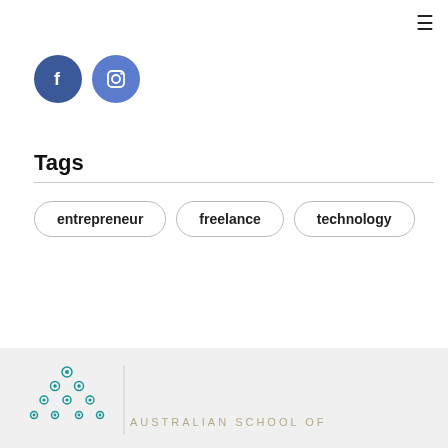≡
[Figure (logo): Facebook and Instagram circular social media icon buttons. Facebook is dark blue circle with white 'f' letter. Instagram is medium blue circle with white camera/instagram icon.]
Tags
entrepreneur
freelance
technology
AUSTRALIAN SCHOOL OF
[Figure (logo): Australian School of logo with teal circular dot pattern and vertical divider line followed by text 'AUSTRALIAN SCHOOL OF']